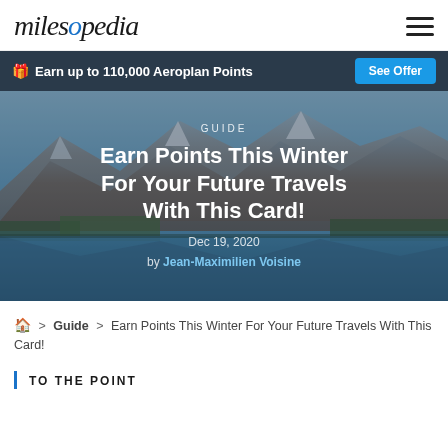milesopedia
Earn up to 110,000 Aeroplan Points  See Offer
[Figure (photo): Mountain landscape with lake reflection, used as hero background image]
GUIDE
Earn Points This Winter For Your Future Travels With This Card!
Dec 19, 2020
by Jean-Maximilien Voisine
🏠 > Guide > Earn Points This Winter For Your Future Travels With This Card!
TO THE POINT